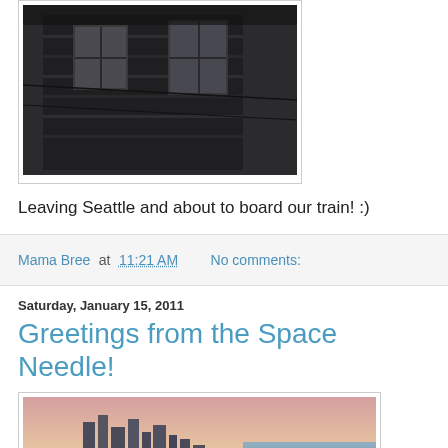[Figure (photo): Dark photo of a building exterior showing windows and facade, shot from below looking up]
Leaving Seattle and about to board our train! :)
Mama Bree at 11:21 AM   No comments:
Saturday, January 15, 2011
Greetings from the Space Needle!
[Figure (photo): Family photo taken at the Space Needle with Seattle skyline and waterfront visible in the background at dusk. A woman, man, and child pose together.]